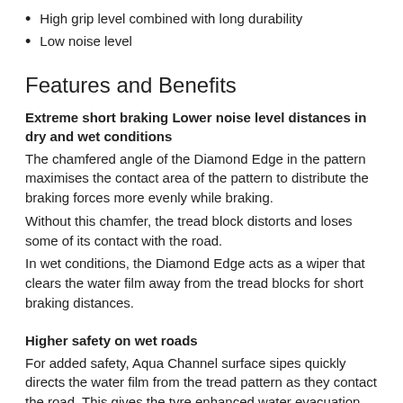High grip level combined with long durability
Low noise level
Features and Benefits
Extreme short braking Lower noise level distances in dry and wet conditions
The chamfered angle of the Diamond Edge in the pattern maximises the contact area of the pattern to distribute the braking forces more evenly while braking.
Without this chamfer, the tread block distorts and loses some of its contact with the road.
In wet conditions, the Diamond Edge acts as a wiper that clears the water film away from the tread blocks for short braking distances.
Higher safety on wet roads
For added safety, Aqua Channel surface sipes quickly directs the water film from the tread pattern as they contact the road. This gives the tyre enhanced water evacuation ability.